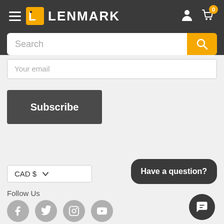[Figure (logo): Lenmark logo with yellow square icon and white bold text LENMARK on dark background header]
[Figure (screenshot): Search bar with white input field placeholder 'Search' and yellow search button]
Your email
Subscribe
CAD $
Follow Us
[Figure (infographic): Social media icons: Facebook, Twitter, Instagram, YouTube - grey circles]
Have a question?